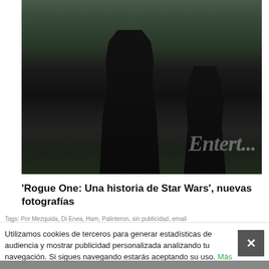[Figure (photo): Two figures in black armored military/sci-fi costumes (Death Troopers from Rogue One: A Star Wars Story) standing on a dark rocky landscape. A white goat or similar animal is visible in the background. Entertainment Weekly watermark in lower right corner.]
'Rogue One: Una historia de Star Wars', nuevas fotografías
Utilizamos cookies de terceros para generar estadísticas de audiencia y mostrar publicidad personalizada analizando tu navegación. Si sigues navegando estarás aceptando su uso. Más información